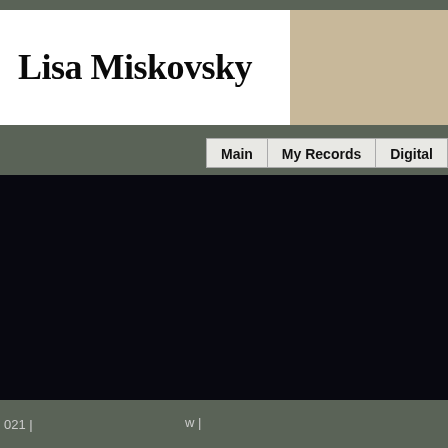Lisa Miskovsky
[Figure (photo): Partial photo of a person with blonde hair, cropped to right side of header]
Main | My Records | Digital
[Figure (other): Large dark/black content area, appears to be a video player or empty media embed]
021 | w|